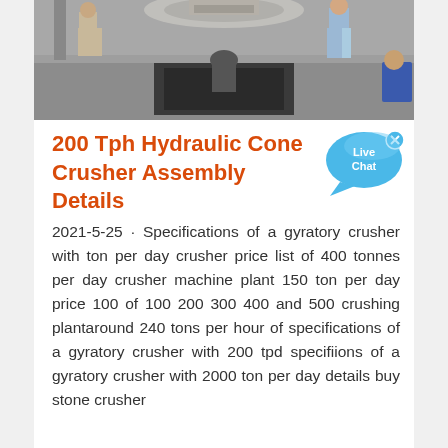[Figure (photo): Workers assembling or operating industrial crushing equipment on a construction/mining site. Multiple people visible standing around large machinery.]
200 Tph Hydraulic Cone Crusher Assembly Details
[Figure (other): Live Chat button/widget — blue speech bubble with 'Live Chat' text and an X close button]
2021-5-25 · Specifications of a gyratory crusher with ton per day crusher price list of 400 tonnes per day crusher machine plant 150 ton per day price 100 of 100 200 300 400 and 500 crushing plantaround 240 tons per hour of specifications of a gyratory crusher with 200 tpd specifiions of a gyratory crusher with 2000 ton per day details buy stone crusher